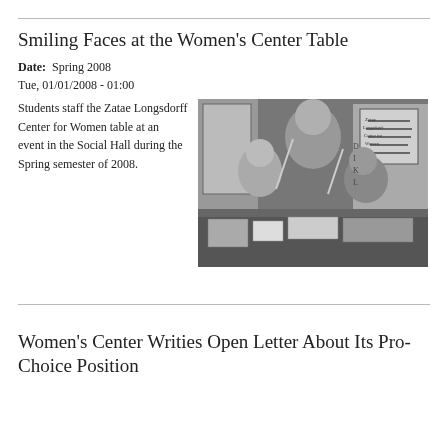Smiling Faces at the Women's Center Table
Date:  Spring 2008
Tue, 01/01/2008 - 01:00
Students staff the Zatae Longsdorff Center for Women table at an event in the Social Hall during the Spring semester of 2008.
[Figure (photo): Black and white photograph of students staffing the Zatae Longsdorff Center for Women table at an event in the Social Hall, Spring 2008. Three women are visible behind a table with signs and materials.]
Women's Center Writies Open Letter About Its Pro-Choice Position